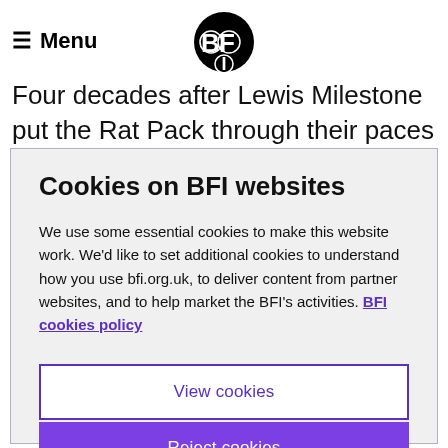≡ Menu
Four decades after Lewis Milestone put the Rat Pack through their paces in Ocean's 11 (1960), Steven Soderbergh returned to Las Vegas with another
Cookies on BFI websites
We use some essential cookies to make this website work. We'd like to set additional cookies to understand how you use bfi.org.uk, to deliver content from partner websites, and to help market the BFI's activities. BFI cookies policy
View cookies
Reject cookies
Accept cookies